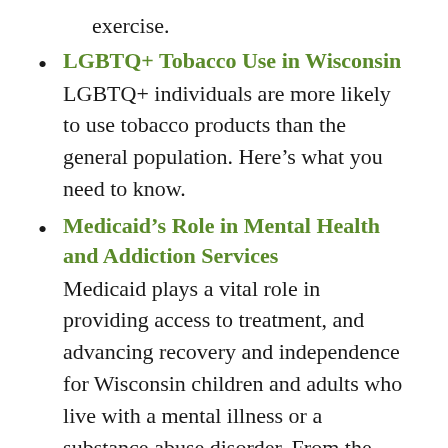exercise.
LGBTQ+ Tobacco Use in Wisconsin — LGBTQ+ individuals are more likely to use tobacco products than the general population. Here’s what you need to know.
Medicaid’s Role in Mental Health and Addiction Services — Medicaid plays a vital role in providing access to treatment, and advancing recovery and independence for Wisconsin children and adults who live with a mental illness or a substance abuse disorder. From the Milwaukee Mental